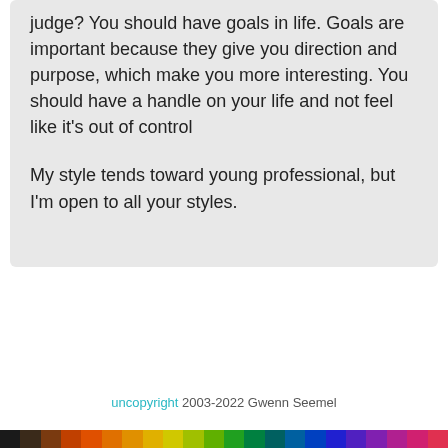judge? You should have goals in life. Goals are important because they give you direction and purpose, which make you more interesting. You should have a handle on your life and not feel like it's out of control

My style tends toward young professional, but I'm open to all your styles.
uncopyright 2003-2022 Gwenn Seemel